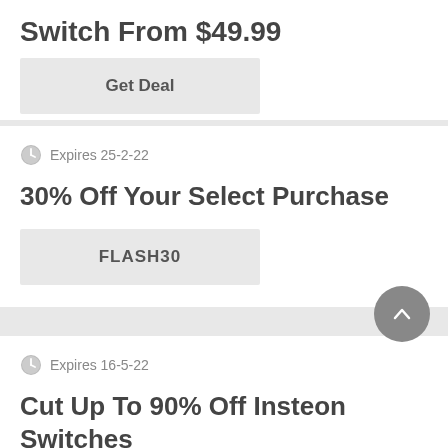Switch From $49.99
Get Deal
Expires 25-2-22
30% Off Your Select Purchase
FLASH30
Expires 16-5-22
Cut Up To 90% Off Insteon Switches